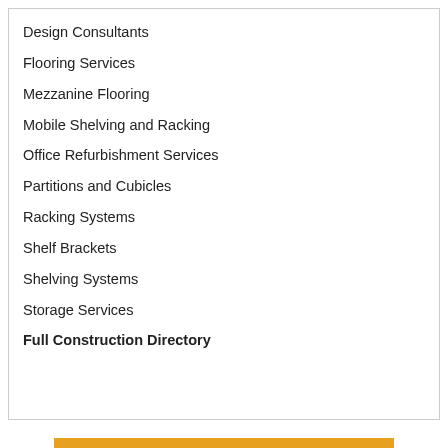Design Consultants
Flooring Services
Mezzanine Flooring
Mobile Shelving and Racking
Office Refurbishment Services
Partitions and Cubicles
Racking Systems
Shelf Brackets
Shelving Systems
Storage Services
Full Construction Directory